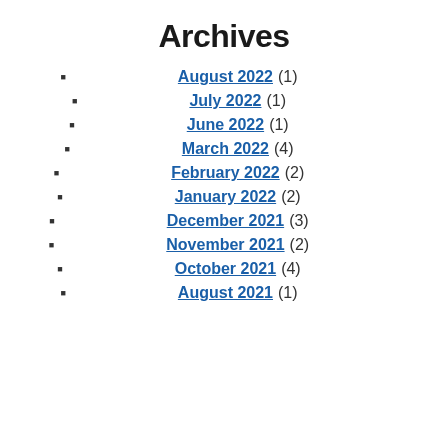Archives
August 2022 (1)
July 2022 (1)
June 2022 (1)
March 2022 (4)
February 2022 (2)
January 2022 (2)
December 2021 (3)
November 2021 (2)
October 2021 (4)
August 2021 (1)